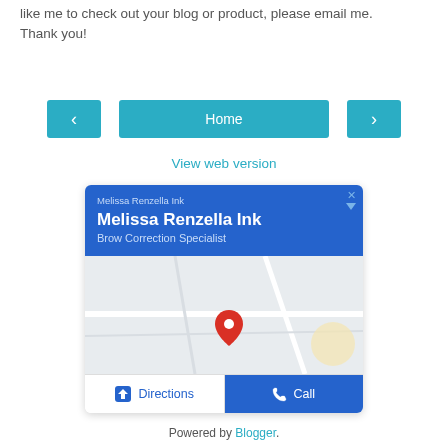like me to check out your blog or product, please email me. Thank you!
[Figure (screenshot): Navigation bar with left arrow button, Home button, and right arrow button]
View web version
[Figure (infographic): Google ad card for Melissa Renzella Ink - Brow Correction Specialist with map and Directions/Call buttons]
Powered by Blogger.